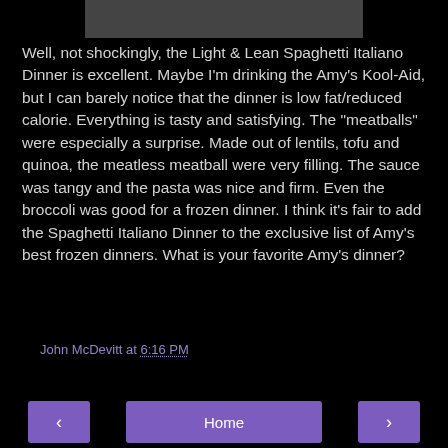[Figure (photo): Gray/dark rectangular image bar at the top center of the page]
Well, not shockingly, the Light & Lean Spaghetti Italiano Dinner is excellent. Maybe I'm drinking the Amy's Kool-Aid, but I can barely notice that the dinner is low fat/reduced calorie. Everything is tasty and satisfying. The "meatballs" were especially a surprise. Made out of lentils, tofu and quinoa, the meatless meatball were very filling. The sauce was tangy and the pasta was nice and firm. Even the broccoli was good for a frozen dinner. I think it's fair to add the Spaghetti Italiano Dinner to the exclusive list of Amy's best frozen dinners. What is your favorite Amy's dinner?
John McDevitt at 6:16 PM
Share
‹
Home
›